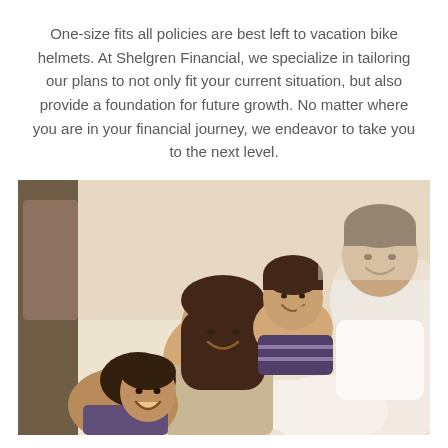One-size fits all policies are best left to vacation bike helmets. At Shelgren Financial, we specialize in tailoring our plans to not only fit your current situation, but also provide a foundation for future growth. No matter where you are in your financial journey, we endeavor to take you to the next level.
[Figure (photo): A happy family of four — a man, a woman, and two children — lying together and smiling while looking at a book or magazine.]